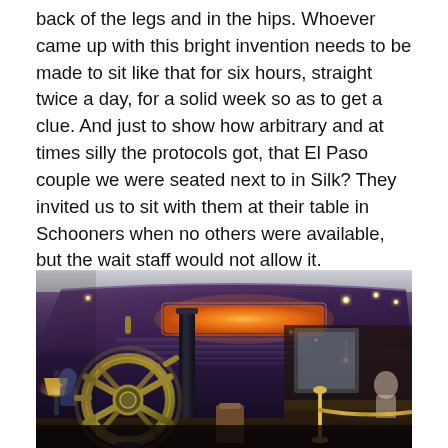back of the legs and in the hips. Whoever came up with this bright invention needs to be made to sit like that for six hours, straight twice a day, for a solid week so as to get a clue. And just to show how arbitrary and at times silly the protocols got, that El Paso couple we were seated next to in Silk? They invited us to sit with them at their table in Schooners when no others were available, but the wait staff would not allow it.
[Figure (photo): Interior of Schooners bar on a cruise ship, showing a nautical themed lounge with a large ship's wheel in the foreground, curved decorative ceiling with recessed lighting and a backlit display panel, bar seating area, and ornate dark wood and blue accent decor.]